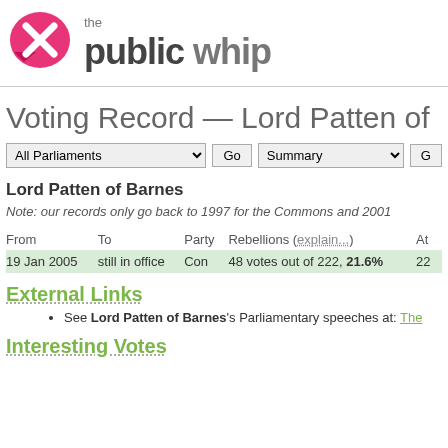[Figure (logo): The Public Whip logo with pink/magenta X speech bubble icon and bold grey text 'the public whip']
Voting Record — Lord Patten of
All Parliaments [dropdown] Go | Summary [dropdown] Go
Lord Patten of Barnes
Note: our records only go back to 1997 for the Commons and 2001
| From | To | Party | Rebellions (explain...) | At |
| --- | --- | --- | --- | --- |
| 19 Jan 2005 | still in office | Con | 48 votes out of 222, 21.6% | 22 |
External Links
See Lord Patten of Barnes's Parliamentary speeches at: The
Interesting Votes